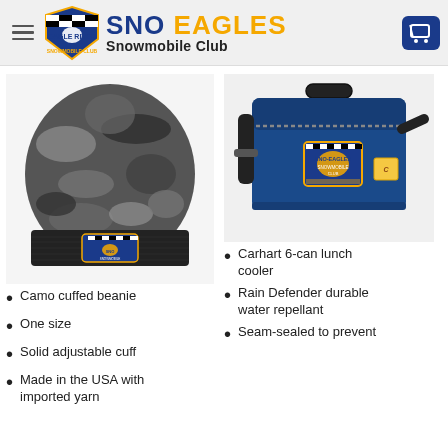SNO EAGLES Snowmobile Club
[Figure (photo): Camo cuffed beanie with black cuff and Sno-Eagles Snowmobile Club logo patch]
Camo cuffed beanie
One size
Solid adjustable cuff
Made in the USA with imported yarn
[Figure (photo): Carhartt blue 6-can lunch cooler with shoulder strap and Sno-Eagles logo patch]
Carhart 6-can lunch cooler
Rain Defender durable water repellant
Seam-sealed to prevent